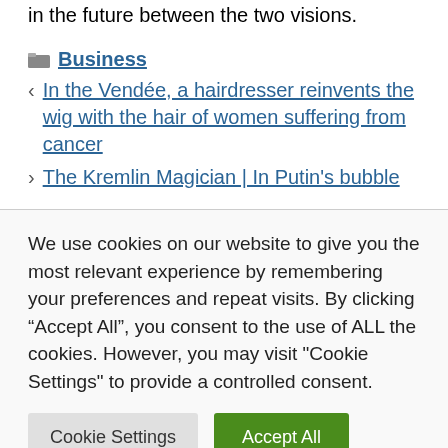in the future between the two visions.
Business
In the Vendée, a hairdresser reinvents the wig with the hair of women suffering from cancer
The Kremlin Magician | In Putin's bubble
We use cookies on our website to give you the most relevant experience by remembering your preferences and repeat visits. By clicking “Accept All”, you consent to the use of ALL the cookies. However, you may visit "Cookie Settings" to provide a controlled consent.